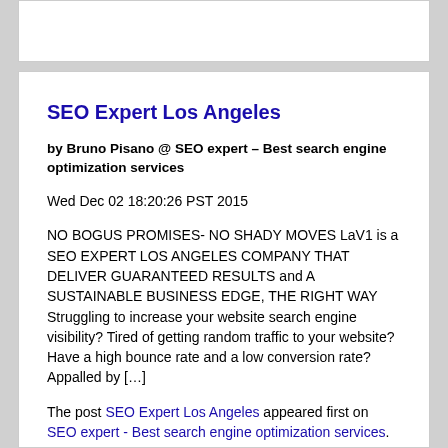SEO Expert Los Angeles
by Bruno Pisano @ SEO expert – Best search engine optimization services
Wed Dec 02 18:20:26 PST 2015
NO BOGUS PROMISES- NO SHADY MOVES LaV1 is a SEO EXPERT LOS ANGELES COMPANY THAT DELIVER GUARANTEED RESULTS and A SUSTAINABLE BUSINESS EDGE, THE RIGHT WAY   Struggling to increase your website search engine visibility? Tired of getting random traffic to your website? Have a high bounce rate and a low conversion rate? Appalled by […]
The post SEO Expert Los Angeles appeared first on SEO expert - Best search engine optimization services.